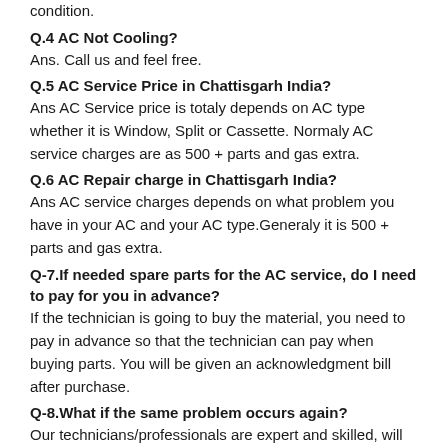condition.
Q.4 AC Not Cooling?
Ans. Call us and feel free.
Q.5 AC Service Price in Chattisgarh India?
Ans AC Service price is totaly depends on AC type whether it is Window, Split or Cassette. Normaly AC service charges are as 500 + parts and gas extra.
Q.6 AC Repair charge in Chattisgarh India?
Ans AC service charges depends on what problem you have in your AC and your AC type.Generaly it is 500 + parts and gas extra.
Q-7.If needed spare parts for the AC service, do I need to pay for you in advance?
If the technician is going to buy the material, you need to pay in advance so that the technician can pay when buying parts. You will be given an acknowledgment bill after purchase.
Q-8.What if the same problem occurs again?
Our technicians/professionals are expert and skilled, will repair your AC with utmost efficiency. But then comes the same problem, we ok fix it.